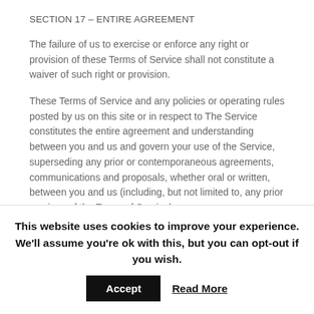SECTION 17 – ENTIRE AGREEMENT
The failure of us to exercise or enforce any right or provision of these Terms of Service shall not constitute a waiver of such right or provision.
These Terms of Service and any policies or operating rules posted by us on this site or in respect to The Service constitutes the entire agreement and understanding between you and us and govern your use of the Service, superseding any prior or contemporaneous agreements, communications and proposals, whether oral or written, between you and us (including, but not limited to, any prior versions of the Terms of Service).
This website uses cookies to improve your experience. We'll assume you're ok with this, but you can opt-out if you wish.
Accept   Read More